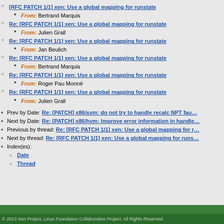[RFC PATCH 1/1] xen: Use a global mapping for runstate — From: Bertrand Marquis
Re: [RFC PATCH 1/1] xen: Use a global mapping for runstate — From: Julien Grall
Re: [RFC PATCH 1/1] xen: Use a global mapping for runstate — From: Jan Beulich
Re: [RFC PATCH 1/1] xen: Use a global mapping for runstate — From: Bertrand Marquis
Re: [RFC PATCH 1/1] xen: Use a global mapping for runstate — From: Roger Pau Monné
Re: [RFC PATCH 1/1] xen: Use a global mapping for runstate — From: Julien Grall
Prev by Date: Re: [PATCH] x86/svm: do not try to handle recalc NPT fau…
Next by Date: Re: [PATCH] x86/hvm: Improve error information in handle…
Previous by thread: Re: [RFC PATCH 1/1] xen: Use a global mapping for r…
Next by thread: Re: [RFC PATCH 1/1] xen: Use a global mapping for runs…
Index(es):
Date
Thread
© 2013 Xen Project, Linux Foundation Collaborative Project. All Rights Reserved.